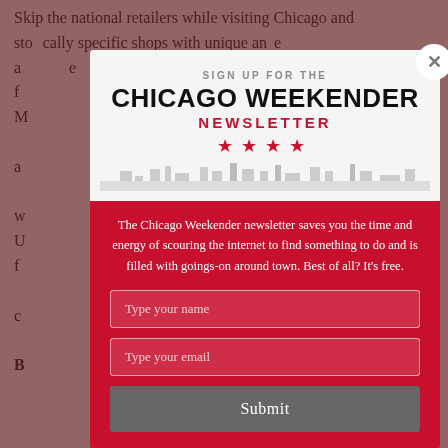Skip the national retailers while visiting Chicago and step into locally specific shops with unique and carefully curated merchandise. From the Magnificent Mile to neighborhoods across the city, we've found the best Chicago boutiques to add to your must-shop list.
[Figure (screenshot): Newsletter signup modal overlay for Chicago Weekender newsletter, displayed over a greyed-out article page. The modal contains a banner with 'SIGN UP FOR THE' text, 'CHICAGO WEEKENDER' in large bold letters, 'NEWSLETTER' in red, four red star icons, a skyline silhouette, descriptive text about the newsletter, two input fields for name and email, and a Submit button. A close (X) button appears in the top right corner.]